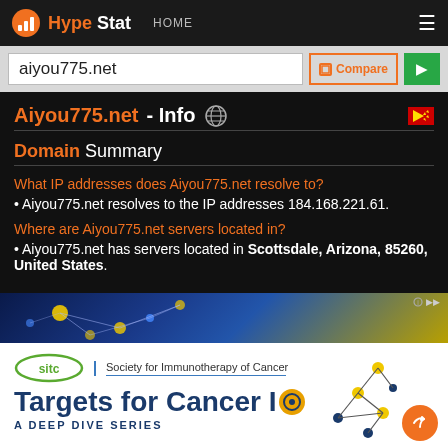HypeStat — HOME
aiyou775.net
Aiyou775.net - Info
Domain Summary
What IP addresses does Aiyou775.net resolve to?
• Aiyou775.net resolves to the IP addresses 184.168.221.61.
Where are Aiyou775.net servers located in?
• Aiyou775.net has servers located in Scottsdale, Arizona, 85260, United States.
[Figure (photo): Dark blue neural network advertisement banner]
[Figure (photo): SITC Society for Immunotherapy of Cancer — Targets for Cancer IO — A Deep Dive Series advertisement]